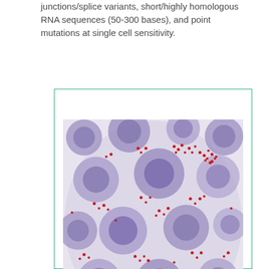junctions/splice variants, short/highly homologous RNA sequences (50-300 bases), and point mutations at single cell sensitivity.
[Figure (photo): Microscopy image showing cells stained with a blue/purple hematoxylin counterstain displaying large round cells with visible nuclei, and small red dots (likely RNA FISH signals or chromogenic ISH dots) scattered throughout the cells and background, indicating single-molecule RNA detection in individual cells.]